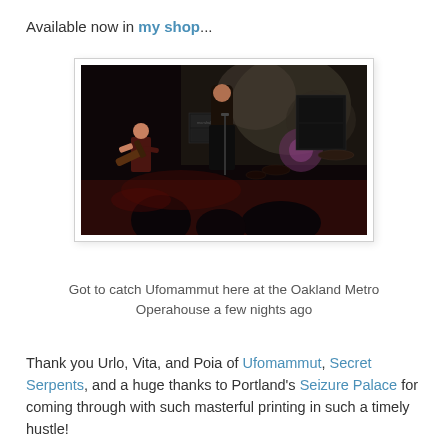Available now in my shop...
[Figure (photo): Concert photo showing two musicians performing on a dark stage at the Oakland Metro Operahouse. One musician with long hair stands center stage, another plays guitar on the left. Stage has amplifiers and drum kit visible in background with projected imagery.]
Got to catch Ufomammut here at the Oakland Metro Operahouse a few nights ago
Thank you Urlo, Vita, and Poia of Ufomammut, Secret Serpents, and a huge thanks to Portland's Seizure Palace for coming through with such masterful printing in such a timely hustle!